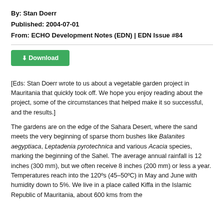By: Stan Doerr
Published: 2004-07-01
From: ECHO Development Notes (EDN) | EDN Issue #84
[Figure (other): Green Download button]
[Eds: Stan Doerr wrote to us about a vegetable garden project in Mauritania that quickly took off. We hope you enjoy reading about the project, some of the circumstances that helped make it so successful, and the results.]
The gardens are on the edge of the Sahara Desert, where the sand meets the very beginning of sparse thorn bushes like Balanites aegyptiaca, Leptadenia pyrotechnica and various Acacia species, marking the beginning of the Sahel. The average annual rainfall is 12 inches (300 mm), but we often receive 8 inches (200 mm) or less a year. Temperatures reach into the 120ºs (45–50ºC) in May and June with humidity down to 5%. We live in a place called Kiffa in the Islamic Republic of Mauritania, about 600 kms from the